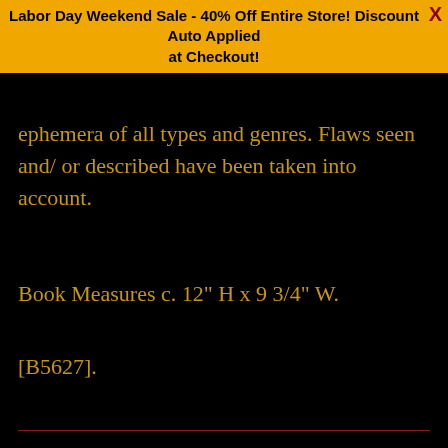Labor Day Weekend Sale - 40% Off Entire Store! Discount Auto Applied at Checkout!
ephemera of all types and genres. Flaws seen and/ or described have been taken into account.
Book Measures c. 12" H x 9 3/4" W.
[B5627].
[Figure (infographic): Social sharing icons row: Facebook (f), Twitter (bird), Pinterest (p), Fancy/bookmark, Google+ (g+), Email (envelope), each in a dark box with red border]